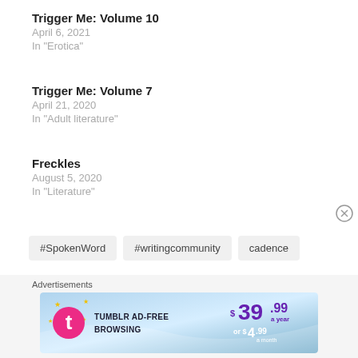Trigger Me: Volume 10
April 6, 2021
In "Erotica"
Trigger Me: Volume 7
April 21, 2020
In "Adult literature"
Freckles
August 5, 2020
In "Literature"
#SpokenWord   #writingcommunity   cadence
Advertisements
[Figure (infographic): Tumblr Ad-Free Browsing advertisement banner showing $39.99 a year or $4.99 a month pricing with Tumblr logo]